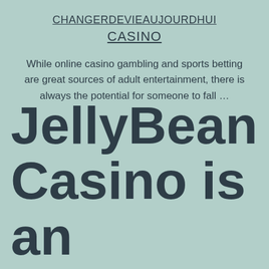CHANGERDEVIEAUJOURDHUI CASINO
While online casino gambling and sports betting are great sources of adult entertainment, there is always the potential for someone to fall …
JellyBean Casino is an